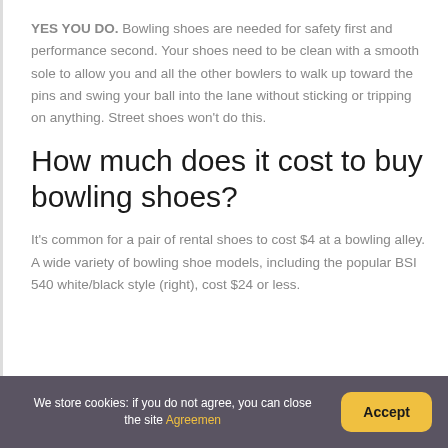YES YOU DO. Bowling shoes are needed for safety first and performance second. Your shoes need to be clean with a smooth sole to allow you and all the other bowlers to walk up toward the pins and swing your ball into the lane without sticking or tripping on anything. Street shoes won't do this.
How much does it cost to buy bowling shoes?
It's common for a pair of rental shoes to cost $4 at a bowling alley. A wide variety of bowling shoe models, including the popular BSI 540 white/black style (right), cost $24 or less.
We store cookies: if you do not agree, you can close the site Agreement